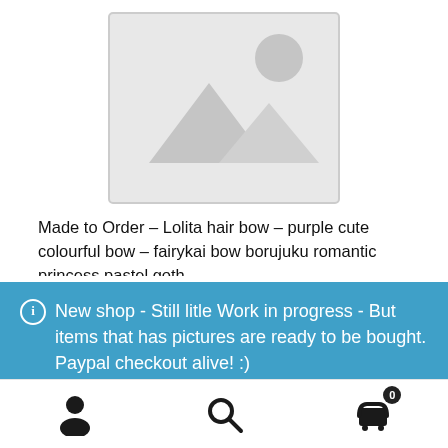[Figure (illustration): Placeholder product image: light grey rectangle with stylized mountain/landscape and sun icon in grey outline]
Made to Order – Lolita hair bow – purple cute colourful bow – fairykai bow borujuku romantic princess pastel goth
New shop - Still litle Work in progress - But items that has pictures are ready to be bought. Paypal checkout alive! :)
Dismiss
[Figure (infographic): Bottom navigation bar with three icons: person/account icon, search/magnifying glass icon, and shopping cart icon with badge showing 0]